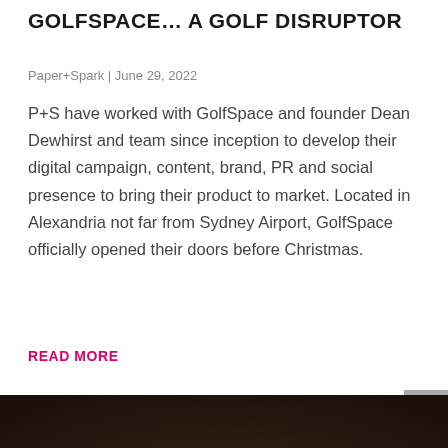GOLFSPACE… A GOLF DISRUPTOR
Paper+Spark | June 29, 2022
P+S have worked with GolfSpace and founder Dean Dewhirst and team since inception to develop their digital campaign, content, brand, PR and social presence to bring their product to market. Located in Alexandria not far from Sydney Airport, GolfSpace officially opened their doors before Christmas.
READ MORE
[Figure (photo): A green plant seedling growing out of a clear light bulb placed on a wooden surface, dark background with warm tones.]